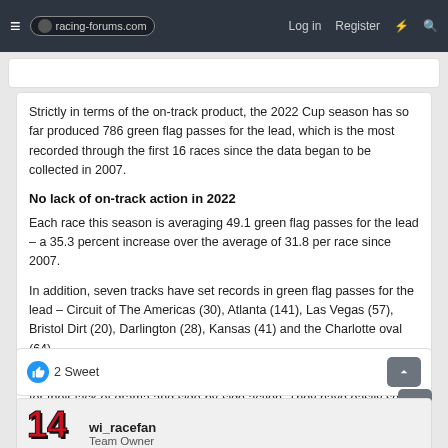racing-forums.com — Log in  Register
Strictly in terms of the on-track product, the 2022 Cup season has so far produced 786 green flag passes for the lead, which is the most recorded through the first 16 races since the data began to be collected in 2007.
No lack of on-track action in 2022
Each race this season is averaging 49.1 green flag passes for the lead – a 35.3 percent increase over the average of 31.8 per race since 2007.
In addition, seven tracks have set records in green flag passes for the lead – Circuit of The Americas (30), Atlanta (141), Las Vegas (57), Bristol Dirt (20), Darlington (28), Kansas (41) and the Charlotte oval (64).
Five of those tracks are intermediates – which for years were criticized for their lack of drama and side-by-side action. They have easily seen the most improvement this year in terms of the quality of racing.
2 Sweet
wi_racefan
Team Owner